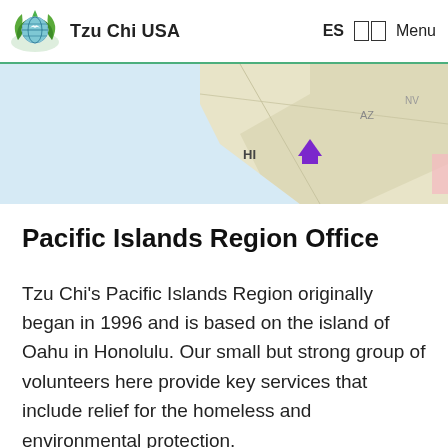Tzu Chi USA  ES  □□  Menu
[Figure (map): Partial screenshot of a map showing Hawaii (HI) with a purple location marker, and regions labeled AZ visible to the right on a light beige/blue map background.]
Pacific Islands Region Office
Tzu Chi's Pacific Islands Region originally began in 1996 and is based on the island of Oahu in Honolulu. Our small but strong group of volunteers here provide key services that include relief for the homeless and environmental protection.